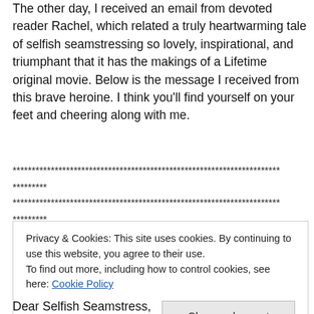The other day, I received an email from devoted reader Rachel, which related a truly heartwarming tale of selfish seamstressing so lovely, inspirational, and triumphant that it has the makings of a Lifetime original movie. Below is the message I received from this brave heroine. I think you'll find yourself on your feet and cheering along with me.
**********************************************************************
*********
**********************************************************************
*********
Privacy & Cookies: This site uses cookies. By continuing to use this website, you agree to their use.
To find out more, including how to control cookies, see here: Cookie Policy
Close and accept
Dear Selfish Seamstress,